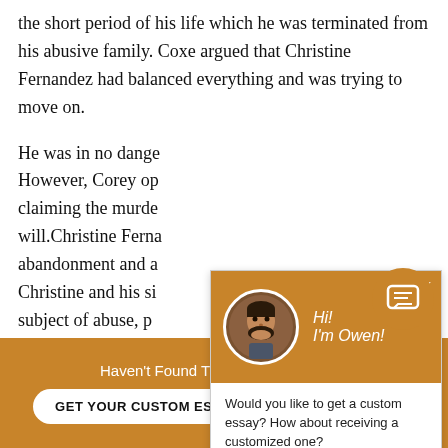the short period of his life which he was terminated from his abusive family. Coxe argued that Christine Fernandez had balanced everything and was trying to move on.
He was in no danger. However, Corey op claiming the murde will.Christine Ferna abandonment and a Christine and his si subject of abuse, p have endured more pain than most people
[Figure (other): Chat popup with orange header showing avatar of a man with beard, name 'Hi! I'm Owen!', and message 'Would you like to get a custom essay? How about receiving a customized one?' with 'Check it out' link. Orange chat icon button at bottom right.]
Haven't Found The Essay You Want?
GET YOUR CUSTOM ESSAY
For Only $13.90/page